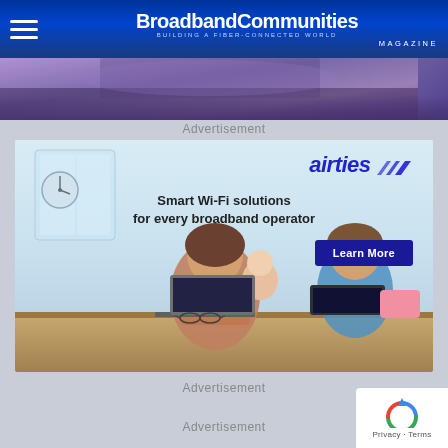BroadbandCommunities BUILDING A FIBER-CONNECTED WORLD MAGAZINE
[Figure (photo): Partial view of a digital advertisement banner at top of page]
Advertisement
[Figure (photo): Airties advertisement showing Smart Wi-Fi solutions for every broadband operator with Learn More button, and image of woman with children using laptops]
Advertisement
Advertisement